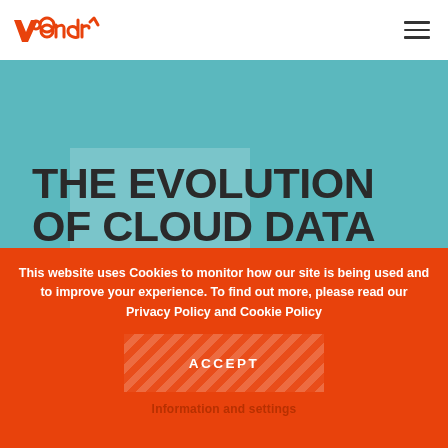yondr [logo] [hamburger menu]
[Figure (illustration): Teal/cyan colored hero background image area for article cover]
THE EVOLUTION OF CLOUD DATA CENTERS AND BEYOND
This website uses Cookies to monitor how our site is being used and to improve your experience. To find out more, please read our Privacy Policy and Cookie Policy
ACCEPT
Information and settings